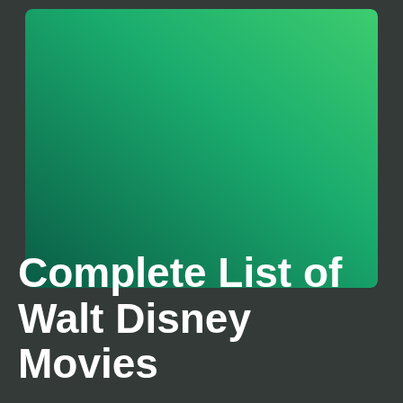[Figure (illustration): A large rectangle with a diagonal gradient from dark teal/green in the lower-left corner to bright green in the upper-right corner, displayed on a dark gray background.]
Complete List of Walt Disney Movies